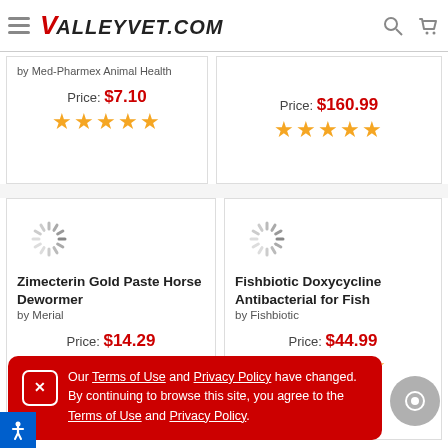VALLEYVET.COM
by Med-Pharmex Animal Health
Price: $7.10 ★★★★★
Price: $160.99 ★★★★★
[Figure (illustration): Loading spinner icon]
Zimecterin Gold Paste Horse Dewormer by Merial
Price: $14.29 ★★★★★
[Figure (illustration): Loading spinner icon]
Fishbiotic Doxycycline Antibacterial for Fish by Fishbiotic
Price: $44.99 ★★★★☆
Our Terms of Use and Privacy Policy have changed. By continuing to browse this site, you agree to the Terms of Use and Privacy Policy.